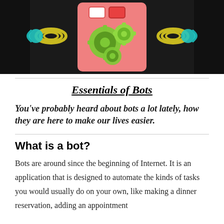[Figure (photo): A toy robot with a pink rectangular body, green gear decorations on its chest, yellow/green coiled arms, and teal claw hands, photographed on a dark background.]
Essentials of Bots
You've probably heard about bots a lot lately, how they are here to make our lives easier.
What is a bot?
Bots are around since the beginning of Internet. It is an application that is designed to automate the kinds of tasks you would usually do on your own, like making a dinner reservation, adding an appointment